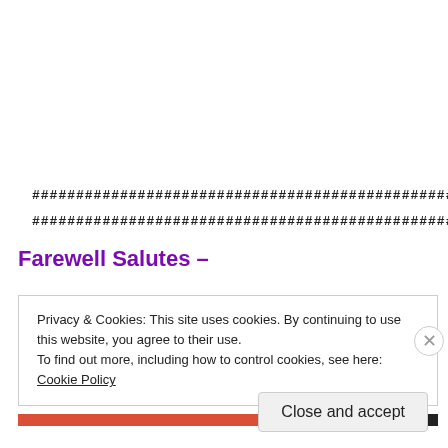[Figure (other): Redacted/censored text lines shown as rows of hash/pound symbols]
Farewell Salutes –
Privacy & Cookies: This site uses cookies. By continuing to use this website, you agree to their use.
To find out more, including how to control cookies, see here: Cookie Policy
Close and accept